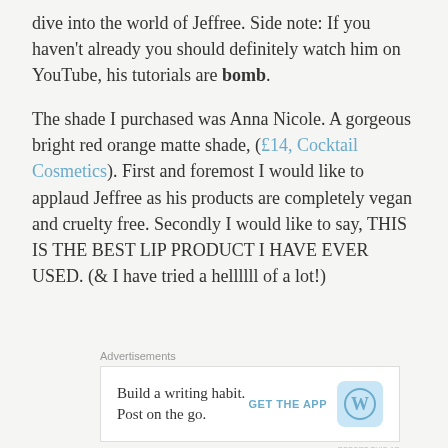dive into the world of Jeffree. Side note: If you haven't already you should definitely watch him on YouTube, his tutorials are bomb.
The shade I purchased was Anna Nicole. A gorgeous bright red orange matte shade, (£14, Cocktail Cosmetics). First and foremost I would like to applaud Jeffree as his products are completely vegan and cruelty free. Secondly I would like to say, THIS IS THE BEST LIP PRODUCT I HAVE EVER USED. (& I have tried a hellllll of a lot!)
[Figure (other): WordPress advertisement banner: 'Build a writing habit. Post on the go.' with GET THE APP button and WordPress logo]